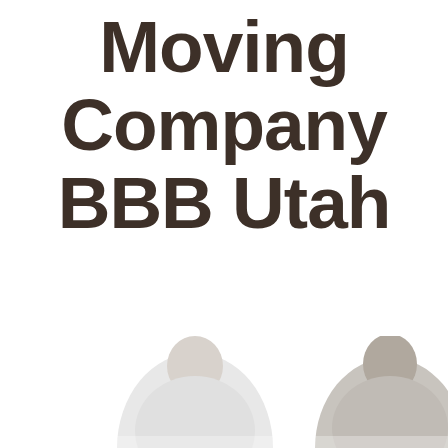Moving Company BBB Utah
[Figure (photo): Partial photo at bottom of page showing two people, likely movers or business representatives, visible from approximately chest/shoulders up, cropped at bottom edge of page.]